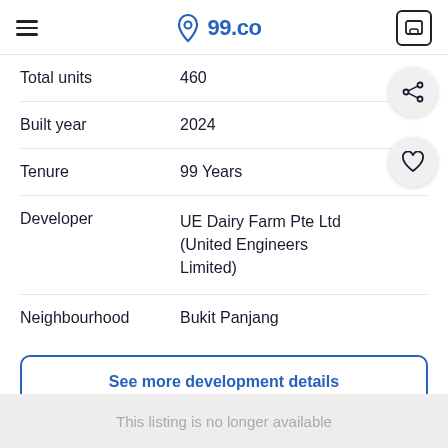99.co
| Property | Value |
| --- | --- |
| Total units | 460 |
| Built year | 2024 |
| Tenure | 99 Years |
| Developer | UE Dairy Farm Pte Ltd (United Engineers Limited) |
| Neighbourhood | Bukit Panjang |
See more development details
See other listings in Dairy Farm Residences
This listing is no longer available